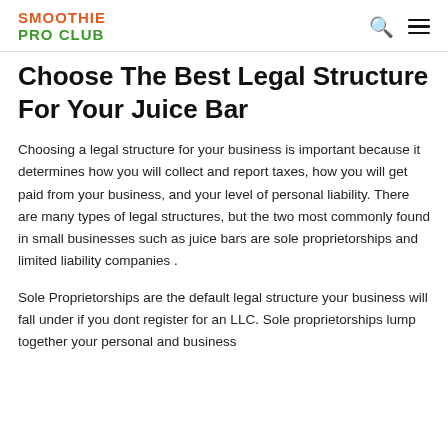SMOOTHIE PRO CLUB
Choose The Best Legal Structure For Your Juice Bar
Choosing a legal structure for your business is important because it determines how you will collect and report taxes, how you will get paid from your business, and your level of personal liability. There are many types of legal structures, but the two most commonly found in small businesses such as juice bars are sole proprietorships and limited liability companies .
Sole Proprietorships are the default legal structure your business will fall under if you dont register for an LLC. Sole proprietorships lump together your personal and business